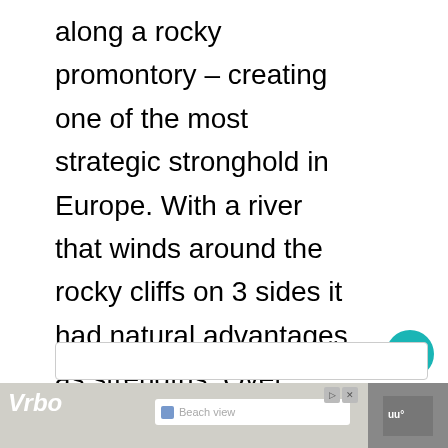along a rocky promontory – creating one of the most strategic stronghold in Europe. With a river that winds around the rocky cliffs on 3 sides it had natural advantages as strengths. Over time, the castle was conquered by different groups and 23 km of tunnels and galleries were built below the stronghold
[Figure (infographic): Heart/like button with teal background showing 202 count, and a share button below]
[Figure (infographic): What's Next panel showing Western Europe Roa... with a circular thumbnail image]
[Figure (infographic): Vrbo advertisement banner with Beach view search field and Book Now button]